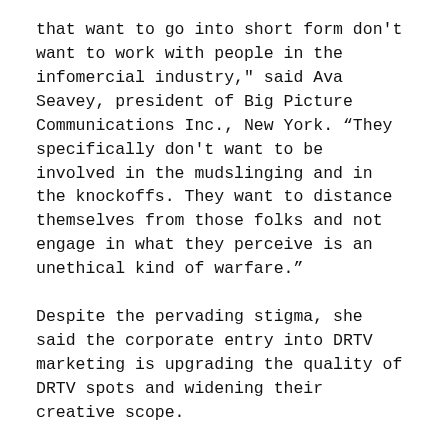that want to go into short form don't want to work with people in the infomercial industry," said Ava Seavey, president of Big Picture Communications Inc., New York. “They specifically don't want to be involved in the mudslinging and in the knockoffs. They want to distance themselves from those folks and not engage in what they perceive is an unethical kind of warfare.”
Despite the pervading stigma, she said the corporate entry into DRTV marketing is upgrading the quality of DRTV spots and widening their creative scope.
“Instead of shooting everything on poorly lit videotape with 'demo, demo, demo' and flashing light graphics,” Seavey said, “people now are more interested in a higher quality of video or even film.”